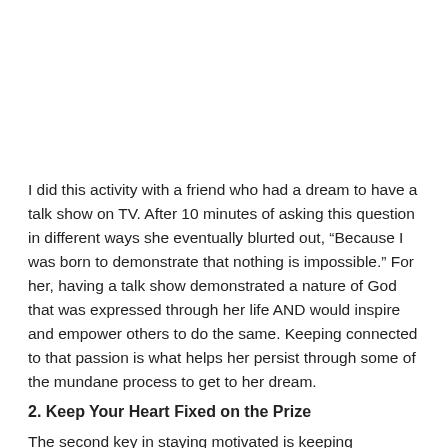I did this activity with a friend who had a dream to have a talk show on TV. After 10 minutes of asking this question in different ways she eventually blurted out, “Because I was born to demonstrate that nothing is impossible.” For her, having a talk show demonstrated a nature of God that was expressed through her life AND would inspire and empower others to do the same. Keeping connected to that passion is what helps her persist through some of the mundane process to get to her dream.
2. Keep Your Heart Fixed on the Prize
The second key in staying motivated is keeping